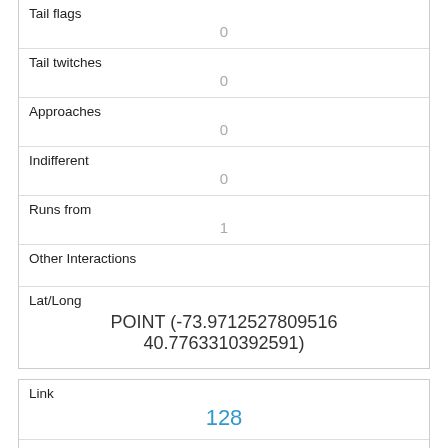| Tail flags | 0 |
| Tail twitches | 0 |
| Approaches | 0 |
| Indifferent | 0 |
| Runs from | 1 |
| Other Interactions |  |
| Lat/Long | POINT (-73.9712527809516 40.7763310392591) |
| Link | 128 |
| rowid | 128 |
| longitude |  |